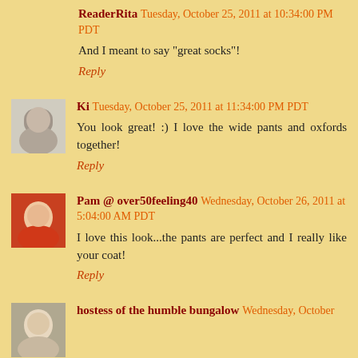ReaderRita Tuesday, October 25, 2011 at 10:34:00 PM PDT
And I meant to say "great socks"!
Reply
Ki Tuesday, October 25, 2011 at 11:34:00 PM PDT
You look great! :) I love the wide pants and oxfords together!
Reply
Pam @ over50feeling40 Wednesday, October 26, 2011 at 5:04:00 AM PDT
I love this look...the pants are perfect and I really like your coat!
Reply
hostess of the humble bungalow Wednesday, October